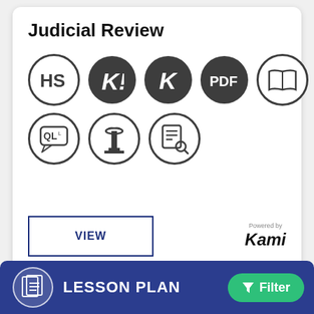Judicial Review
[Figure (infographic): Eight circular icons representing resource types: HS (outline), K! (filled dark), K (filled dark), PDF (filled dark), book (outline), speech bubble (outline), column/pillar (outline), document search (outline)]
[Figure (screenshot): VIEW button (bordered rectangle) and Kami branding (Powered by Kami italic)]
LESSON PLAN
[Figure (infographic): Green Filter button with funnel icon]